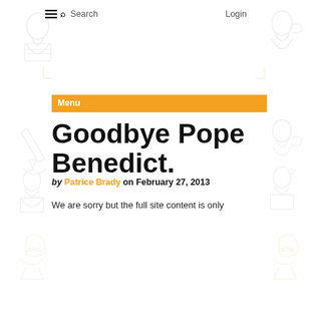≡ 🔍 Search   Login
Menu
Goodbye Pope Benedict.
by Patrice Brady on February 27, 2013
We are sorry but the full site content is only